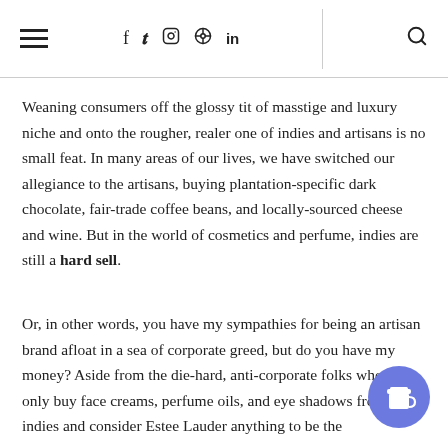≡  f  t  ☐  ⊕  in  |  🔍
Weaning consumers off the glossy tit of masstige and luxury niche and onto the rougher, realer one of indies and artisans is no small feat. In many areas of our lives, we have switched our allegiance to the artisans, buying plantation-specific dark chocolate, fair-trade coffee beans, and locally-sourced cheese and wine. But in the world of cosmetics and perfume, indies are still a hard sell.
Or, in other words, you have my sympathies for being an artisan brand afloat in a sea of corporate greed, but do you have my money? Aside from the die-hard, anti-corporate folks who will only buy face creams, perfume oils, and eye shadows from Etsy indies and consider Estee Lauder anything to be the